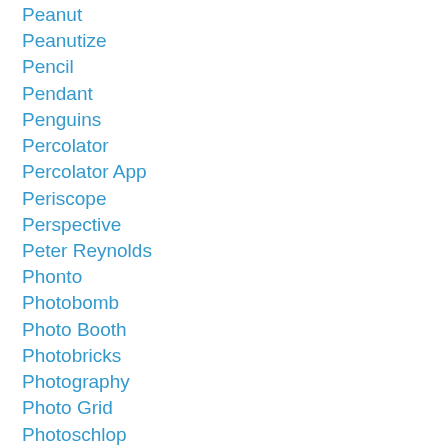Peanut
Peanutize
Pencil
Pendant
Penguins
Percolator
Percolator App
Periscope
Perspective
Peter Reynolds
Phonto
Photobomb
Photo Booth
Photobricks
Photography
Photo Grid
Photoschlop
Photoshlopping
Photo Shoot
Photoshop
Physical And Digital